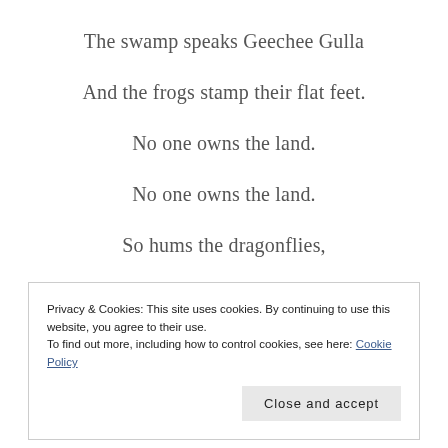The swamp speaks Geechee Gulla
And the frogs stamp their flat feet.
No one owns the land.
No one owns the land.
So hums the dragonflies,
Privacy & Cookies: This site uses cookies. By continuing to use this website, you agree to their use. To find out more, including how to control cookies, see here: Cookie Policy
Close and accept